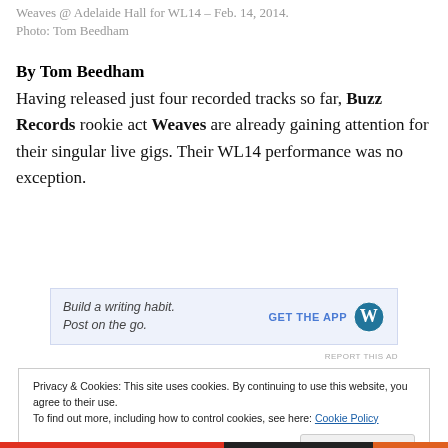Weaves @ Adelaide Hall for WL14 – Feb. 14, 2014. Photo: Tom Beedham
By Tom Beedham
Having released just four recorded tracks so far, Buzz Records rookie act Weaves are already gaining attention for their singular live gigs. Their WL14 performance was no exception.
[Figure (screenshot): WordPress advertisement banner: 'Build a writing habit. Post on the go.' with GET THE APP button and WordPress logo on light blue background]
REPORT THIS AD
Privacy & Cookies: This site uses cookies. By continuing to use this website, you agree to their use.
To find out more, including how to control cookies, see here: Cookie Policy
Close and accept